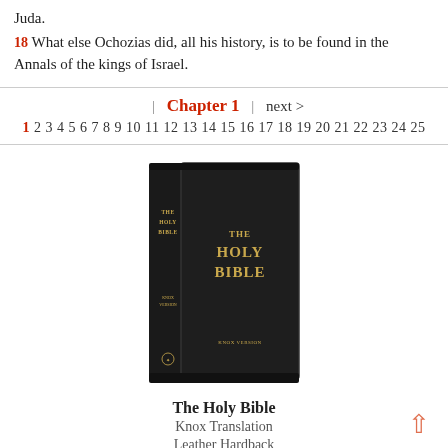Juda.
18 What else Ochozias did, all his history, is to be found in the Annals of the kings of Israel.
| Chapter 1 | next > 1 2 3 4 5 6 7 8 9 10 11 12 13 14 15 16 17 18 19 20 21 22 23 24 25
[Figure (photo): A black leather-bound Holy Bible (Knox Translation) standing upright, showing front cover and spine.]
The Holy Bible
Knox Translation
Leather Hardback